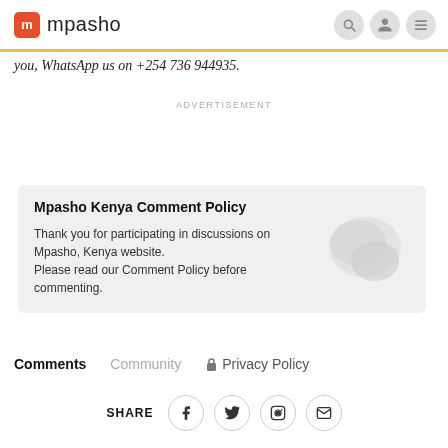mpasho
you, WhatsApp us on +254 736 944935.
ADVERTISEMENT
Mpasho Kenya Comment Policy
Thank you for participating in discussions on Mpasho, Kenya website. Please read our Comment Policy before commenting.
Comments  Community  Privacy Policy
SHARE